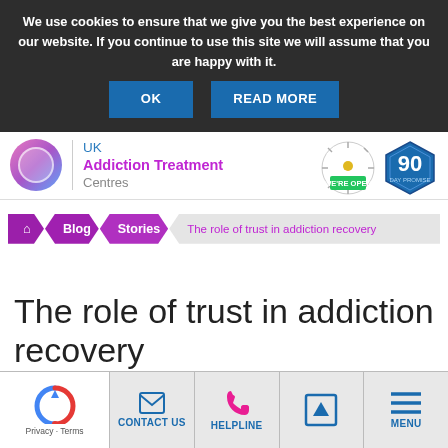We use cookies to ensure that we give you the best experience on our website. If you continue to use this site we will assume that you are happy with it.
OK  READ MORE
[Figure (logo): UK Addiction Treatment Centres logo with circular pink/purple/blue gradient icon, COVID-19 'WE'RE OPEN' badge, and 90 DAY PROMISE hexagon badge]
UK Addiction Treatment Centres
Home > Blog > Stories > The role of trust in addiction recovery
The role of trust in addiction recovery
CONTACT US  HELPLINE  MENU